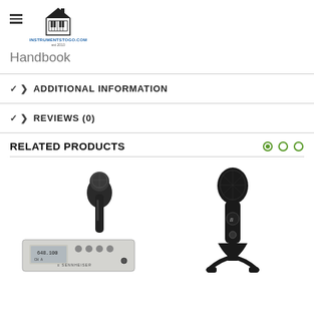Handbook
ADDITIONAL INFORMATION
REVIEWS (0)
RELATED PRODUCTS
[Figure (photo): Sennheiser wireless microphone system with handheld microphone and receiver unit]
[Figure (photo): Blue Yeti USB condenser microphone in blackout color on stand]